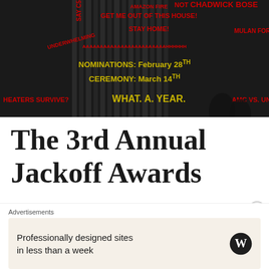[Figure (photo): Darkened black and white photo of what appears to be an auditorium or theater with pipe organ pipes visible. Overlaid with red and yellow text fragments including: 'SAY C5', 'AMAZON FIRE', 'NOT CHADWICK BOSE', 'GET ME OUT OF THIS HOUSE!', 'STAY HOME!', 'MULAN FOR', 'UNDERWHELMING', 'AAAAAAAAAAAAAAAAAAAAAAAAHHHHHH', 'NOMINATIONS: February 28TH', 'CEREMONY: MARCH 14TH', 'HEATERS SURVIVE?', 'WHAT. A. YEAR.', 'AMC VS. UNI']
The 3rd Annual Jackoff Awards
March 14, 2021 by SceneBefore
[Figure (photo): Partial view of a dark themed image with gold/yellow text reading 'JACK DREE'S PRESENTS' and 'A SCENE BEFORE PRODUCTION']
Advertisements
Professionally designed sites in less than a week